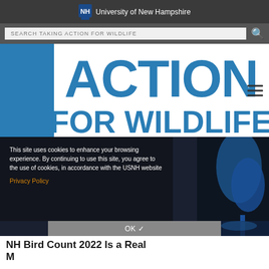[Figure (logo): University of New Hampshire logo with shield and text]
SEARCH TAKING ACTION FOR WILDLIFE
[Figure (logo): Taking Action for Wildlife logo — large blue text with TAKING vertical on left, ACTION and FOR WILDLIFE large on right]
This site uses cookies to enhance your browsing experience. By continuing to use this site, you agree to the use of cookies, in accordance with the USNH website
Privacy Policy
OK ✓
NH Bird Count 2022 Is a Real M...
The end of one year and beginning of the next is often seen as a time of reflection, and that's definitely true for the wildlife